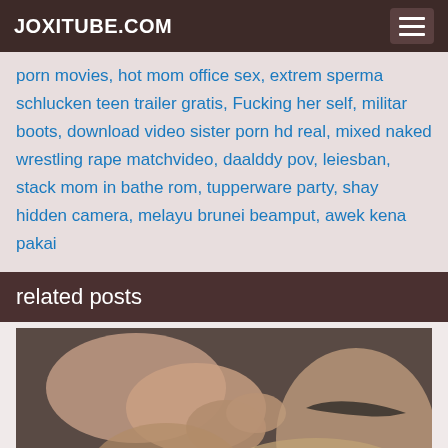JOXITUBE.COM
porn movies, hot mom office sex, extrem sperma schlucken teen trailer gratis, Fucking her self, militar boots, download video sister porn hd real, mixed naked wrestling rape matchvideo, daalddy pov, leiesban, stack mom in bathe rom, tupperware party, shay hidden camera, melayu brunei beamput, awek kena pakai
related posts
[Figure (photo): A partial body photo used as a related post thumbnail]